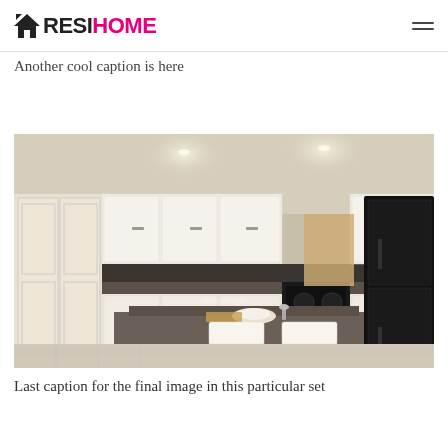RESIHOME
Another cool caption is here
[Figure (photo): Interior photo of a modern kitchen with white cabinets, black appliances (microwave, stove, refrigerator), dark granite island countertop with two white bar stools, light tile flooring, and recessed lighting. Taken from a wide-angle perspective showing the full kitchen layout.]
Last caption for the final image in this particular set